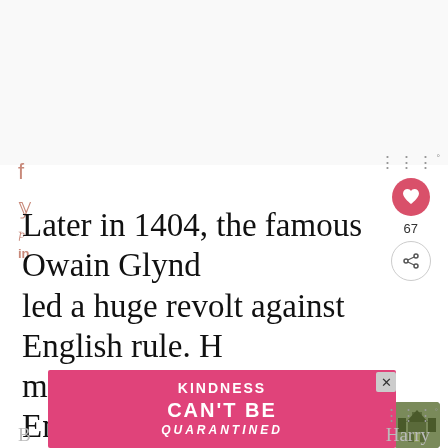[Figure (screenshot): Top portion of a webpage showing a light gray/white area where an image or ad was located, with social media sharing icons (Facebook, Twitter, Pinterest, LinkedIn) on the left side and UI elements (Wordle wordmark, heart/like button with count 67, share button) on the right side.]
Later in 1404, the famous Owain Glynd led a huge revolt against English rule. H managed to overthrow the English stationed at Harlech Castle and parliament here!
[Figure (screenshot): What's Next widget showing a thumbnail of a building with text 'The Brockenhur...' and a close X button on an advertisement banner reading 'KINDNESS CAN'T BE QUARANTINED' in white text on a pink/red background.]
B... Harry